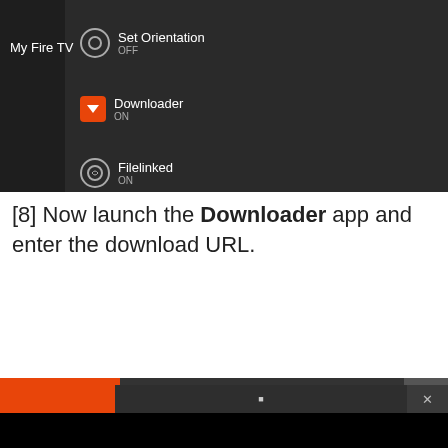[Figure (screenshot): Fire TV settings screen showing My Fire TV menu with Set Orientation (OFF), Downloader (ON), and Filelinked (ON) options]
[8] Now launch the Downloader app and enter the download URL.
[Figure (screenshot): Downloader app screen with black background showing a 'Source not found' error message in a light gray bar with a red warning icon]